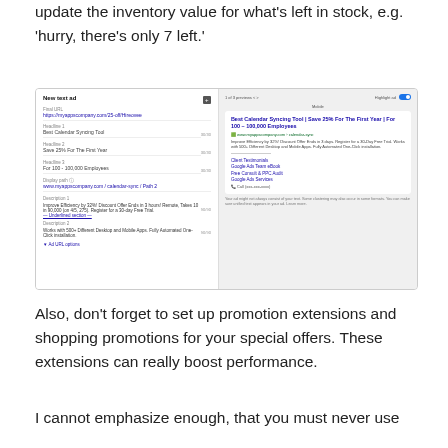update the inventory value for what's left in stock, e.g. 'hurry, there's only 7 left.'
[Figure (screenshot): Google Ads interface showing a responsive search ad editor on the left with fields for Final URL, Headline 1 (Best Calendar Syncing Tool), Headline 2 (Save 25% For The First Year), Headline 3 (For 100–100,000 Employees), Display path, and Description fields. On the right is a preview of the ad showing the headline, URL, description text, and sitelink extensions including Client Testimonials, Google Ads Team eBook, Free Consult & PPC Audit, Google Ads Services, and a Call button.]
Also, don't forget to set up promotion extensions and shopping promotions for your special offers. These extensions can really boost performance.
I cannot emphasize enough, that you must never use